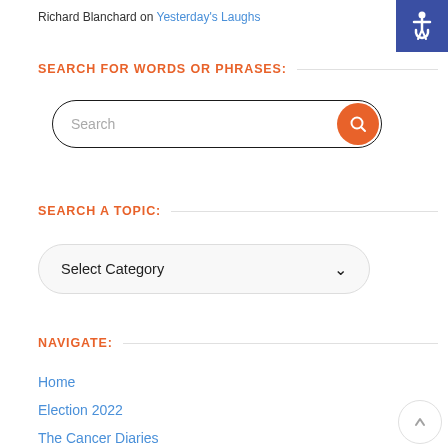Richard Blanchard on Yesterday's Laughs
SEARCH FOR WORDS OR PHRASES:
[Figure (screenshot): Search input bar with orange search button on the right]
SEARCH A TOPIC:
[Figure (screenshot): Dropdown select element labeled 'Select Category' with down arrow]
NAVIGATE:
Home
Election 2022
The Cancer Diaries
Machiavelli For Mayors